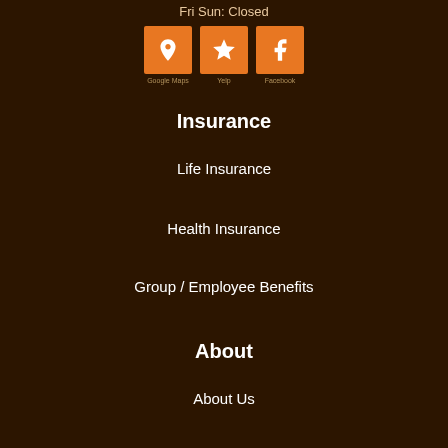Fri Sun: Closed
[Figure (other): Three orange social media icon buttons: location/map pin, Yelp star, and Facebook logo]
Insurance
Life Insurance
Health Insurance
Group / Employee Benefits
About
About Us